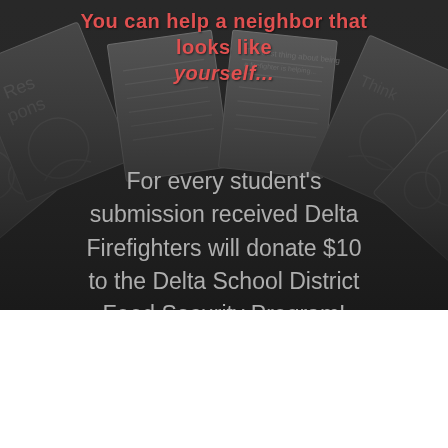[Figure (illustration): Dark background with fanned-out student worksheets/coloring pages illustrated in gray tones, with text overlays]
For every student's submission received Delta Firefighters will donate $10 to the Delta School District Food Security Program!
Creative Students Community Initiative